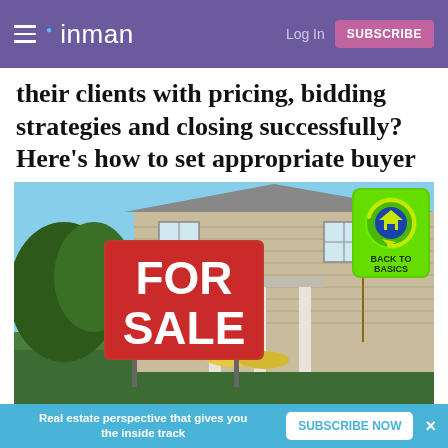inman | Log In | SUBSCRIBE
their clients with pricing, bidding strategies and closing successfully? Here's how to set appropriate buyer expectations from the start
[Figure (photo): A red 'FOR SALE' sign in front of a suburban house with an American flag; a 'Back to Basics' logo badge in the top right corner of the image]
Image by: Canva
Real estate perspective that gives you the inside track | SUBSCRIBE NOW | ×